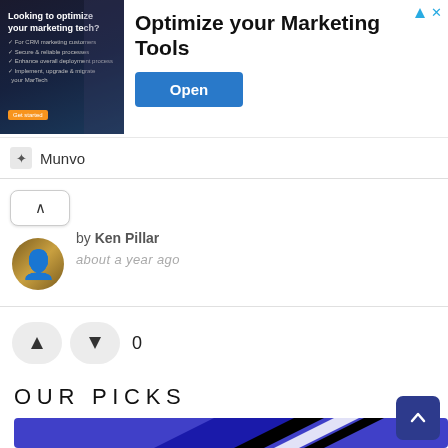[Figure (screenshot): Advertisement banner for Munvo marketing tools optimization. Shows an image of a person at a laptop on the left, headline 'Optimize your Marketing Tools' in the center, an 'Open' button, and 'Munvo' brand logo at the bottom.]
by Ken Pillar
about a year ago
0
OUR PICKS
[Figure (photo): Blue background image with diagonal black and white stripes/lines across it.]